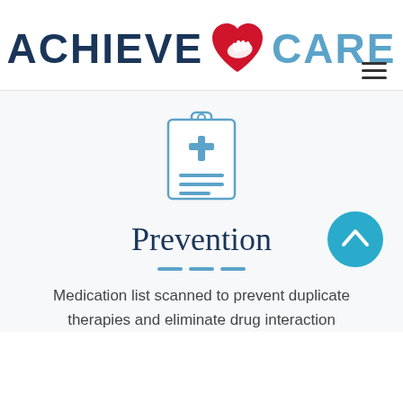[Figure (logo): Achieve Care logo with red heart and hand icon between 'ACHIEVE' in dark navy and 'CARE' in light blue]
[Figure (illustration): Medical clipboard icon with a cross and lines, drawn in light blue outline style]
Prevention
Medication list scanned to prevent duplicate therapies and eliminate drug interaction